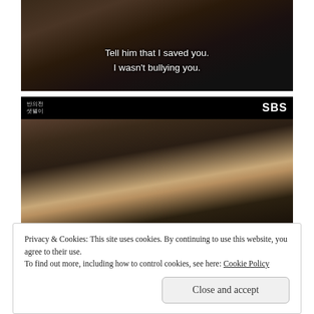[Figure (screenshot): Screenshot of a Korean drama scene showing a woman smiling, with subtitle text: 'Tell him that I saved you. I wasn't bullying you.']
[Figure (screenshot): Screenshot of a Korean drama on SBS channel, showing a close-up of a young woman's face. SBS logo and Korean text visible in the top bar.]
Privacy & Cookies: This site uses cookies. By continuing to use this website, you agree to their use.
To find out more, including how to control cookies, see here: Cookie Policy
Close and accept